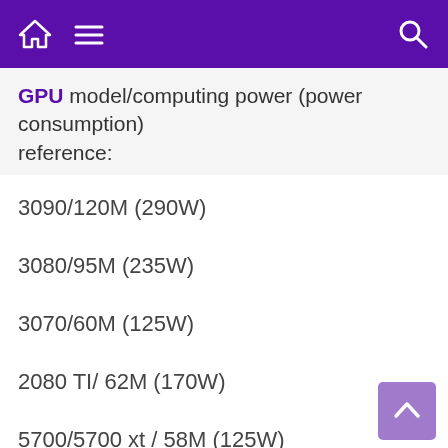Navigation bar with home, menu, and search icons
GPU model/computing power (power consumption)
reference:
3090/120M (290W)
3080/95M (235W)
3070/60M (125W)
2080 TI/ 62M (170W)
5700/5700 xt / 58M (125W)
vega56/48M(150w)